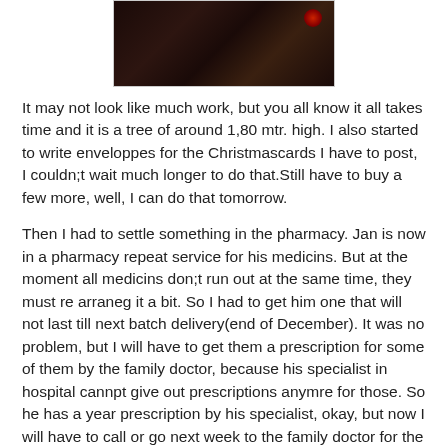[Figure (photo): A dark photograph, mostly black/dark brown tones, with a small red circular highlight visible in the upper right area. Appears to be a decorated Christmas tree photo taken in low light.]
It may not look like much work, but you all know it all takes time and it is a tree of around 1,80 mtr. high. I also started to write enveloppes for the Christmascards I have to post, I couldn;t wait much longer to do that.Still have to buy a few more, well, I can do that tomorrow.
Then I had to settle something in the pharmacy. Jan is now in a pharmacy repeat service for his medicins. But at the moment all medicins don;t run out at the same time, they must re arraneg it a bit. So I had to get him one that will not last till next batch delivery(end of December). It was no problem, but I will have to get them a prescription for some of them by the family doctor, because his specialist in hospital cannpt give out prescriptions anymre for those. So he has a year prescription by his specialist, okay, but now I will have to call or go next week to the family doctor for the other ones. Once they have had that one time, they can call for repitition of the medicins to the family doctor themselves